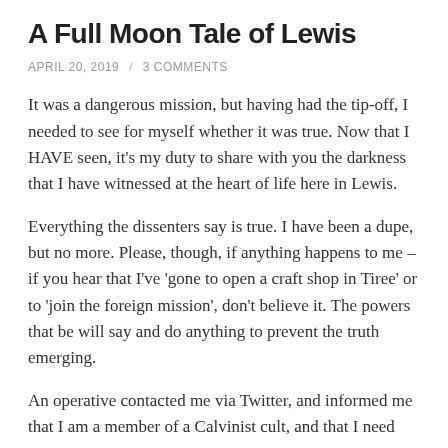A Full Moon Tale of Lewis
APRIL 20, 2019  /  3 COMMENTS
It was a dangerous mission, but having had the tip-off, I needed to see for myself whether it was true. Now that I HAVE seen, it's my duty to share with you the darkness that I have witnessed at the heart of life here in Lewis.
Everything the dissenters say is true. I have been a dupe, but no more. Please, though, if anything happens to me – if you hear that I've 'gone to open a craft shop in Tiree' or to 'join the foreign mission', don't believe it. The powers that be will say and do anything to prevent the truth emerging.
An operative contacted me via Twitter, and informed me that I am a member of a Calvinist cult, and that I need